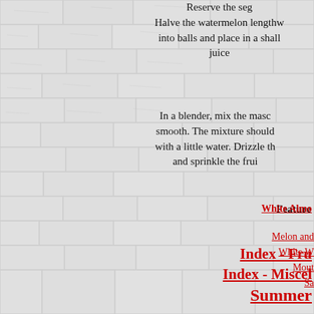Reserve the seg Halve the watermelon lengthw into balls and place in a shall juice In a blender, mix the masc smooth. The mixture should with a little water. Drizzle th and sprinkle the frui
Feature
Melon and
White W
Mout
Sa
White Almo
Index - Fru
Index - Miscel
Summer